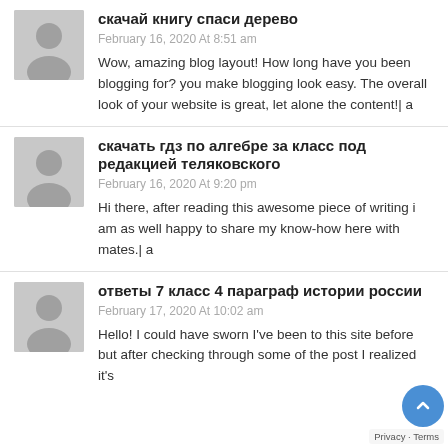скачай книгу спаси дерево
February 16, 2020 At 8:51 am
Wow, amazing blog layout! How long have you been blogging for? you make blogging look easy. The overall look of your website is great, let alone the content!| a
скачать гдз по алгебре за класс под редакцией теляковского
February 16, 2020 At 9:20 pm
Hi there, after reading this awesome piece of writing i am as well happy to share my know-how here with mates.| a
ответы 7 класс 4 параграф истории россии
February 17, 2020 At 10:02 am
Hello! I could have sworn I've been to this site before but after checking through some of the post I realized it's